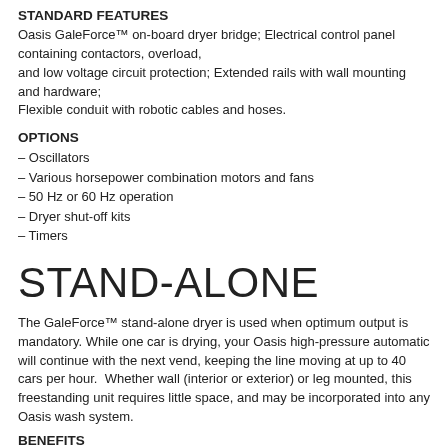STANDARD FEATURES
Oasis GaleForce™ on-board dryer bridge; Electrical control panel containing contactors, overload, and low voltage circuit protection; Extended rails with wall mounting and hardware; Flexible conduit with robotic cables and hoses.
OPTIONS
– Oscillators
– Various horsepower combination motors and fans
– 50 Hz or 60 Hz operation
– Dryer shut-off kits
– Timers
STAND-ALONE
The GaleForce™ stand-alone dryer is used when optimum output is mandatory. While one car is drying, your Oasis high-pressure automatic will continue with the next vend, keeping the line moving at up to 40 cars per hour.  Whether wall (interior or exterior) or leg mounted, this freestanding unit requires little space, and may be incorporated into any Oasis wash system.
BENEFITS